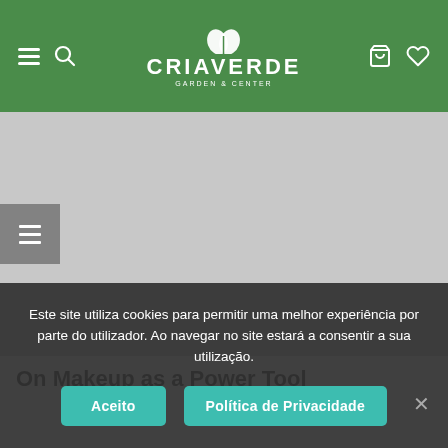[Figure (screenshot): Green navigation header bar with hamburger menu icon, search icon on the left, CRIAVERDE GARDEN & CENTER logo in the center with leaf icon, cart and heart icons on the right]
[Figure (photo): Large grey placeholder image area with a grey side button/panel on the left side]
On Makeup as a Power Tool
Este site utiliza cookies para permitir uma melhor experiência por parte do utilizador. Ao navegar no site estará a consentir a sua utilização.
Aceito
Política de Privacidade